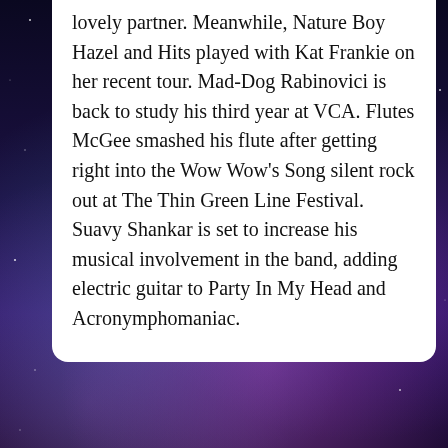lovely partner. Meanwhile, Nature Boy Hazel and Hits played with Kat Frankie on her recent tour. Mad-Dog Rabinovici is back to study his third year at VCA. Flutes McGee smashed his flute after getting right into the Wow Wow's Song silent rock out at The Thin Green Line Festival. Suavy Shankar is set to increase his musical involvement in the band, adding electric guitar to Party In My Head and Acronymphomaniac.
COMMENTS
Alysha